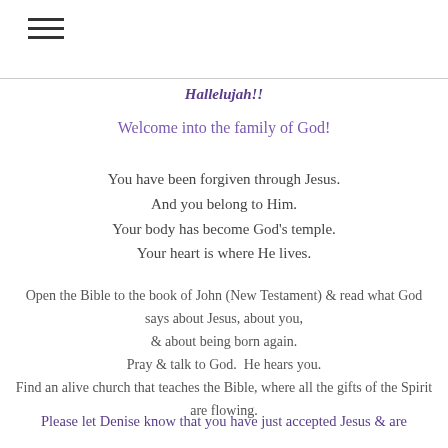≡ (hamburger menu icon)
Hallelujah!!
Welcome into the family of God!
You have been forgiven through Jesus. And you belong to Him. Your body has become God's temple. Your heart is where He lives.
Open the Bible to the book of John (New Testament) & read what God says about Jesus, about you, & about being born again. Pray & talk to God.  He hears you. Find an alive church that teaches the Bible, where all the gifts of the Spirit are flowing.
Please let Denise know that you have just accepted Jesus & are